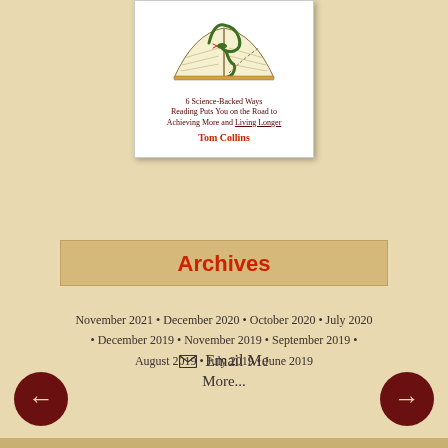[Figure (illustration): Book cover for a book by Tom Collins showing an open book with a snake/lizard illustration, subtitle '6 Science-Backed Ways Reading Puts You on the Road to Achieving More and Living Longer', author name Tom Collins]
Archives
November 2021 • December 2020 • October 2020 • July 2020 • December 2019 • November 2019 • September 2019 • August 2019 • July 2019 • June 2019
More...
✉ Email Me